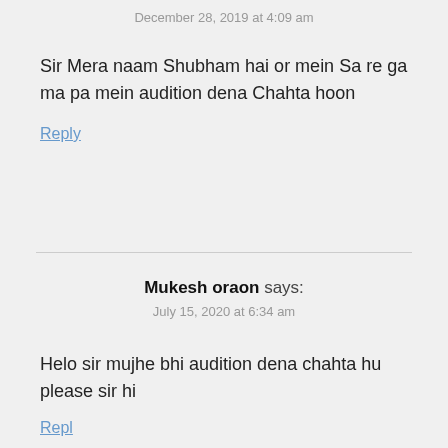December 28, 2019 at 4:09 am
Sir Mera naam Shubham hai or mein Sa re ga ma pa mein audition dena Chahta hoon
Reply
Mukesh oraon says:
July 15, 2020 at 6:34 am
Helo sir mujhe bhi audition dena chahta hu please sir hi
Reply